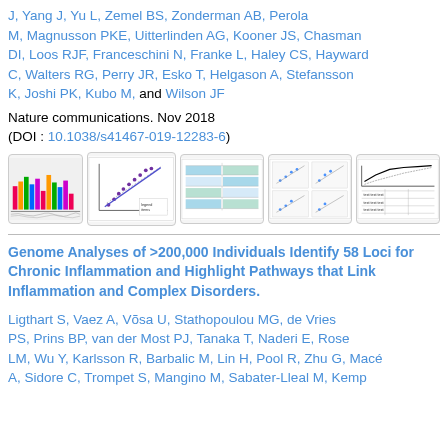J, Yang J, Yu L, Zemel BS, Zonderman AB, Perola M, Magnusson PKE, Uitterlinden AG, Kooner JS, Chasman DI, Loos RJF, Franceschini N, Franke L, Haley CS, Hayward C, Walters RG, Perry JR, Esko T, Helgason A, Stefansson K, Joshi PK, Kubo M, and Wilson JF
Nature communications. Nov 2018
(DOI : 10.1038/s41467-019-12283-6)
[Figure (other): Row of 5 small thumbnail figures from the paper including bar charts, scatter plots, and tables]
Genome Analyses of >200,000 Individuals Identify 58 Loci for Chronic Inflammation and Highlight Pathways that Link Inflammation and Complex Disorders.
Ligthart S, Vaez A, Võsa U, Stathopoulou MG, de Vries PS, Prins BP, van der Most PJ, Tanaka T, Naderi E, Rose LM, Wu Y, Karlsson R, Barbalic M, Lin H, Pool R, Zhu G, Macé A, Sidore C, Trompet S, Mangino M, Sabater-Lleal M, Kemp